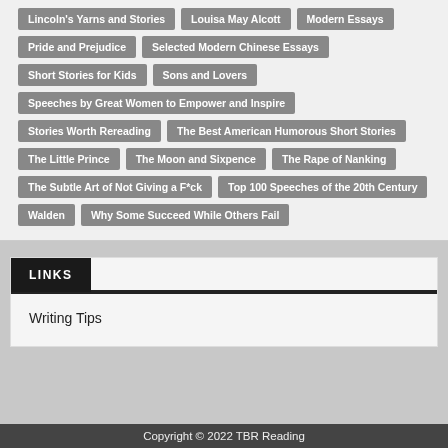Lincoln's Yarns and Stories
Louisa May Alcott
Modern Essays
Pride and Prejudice
Selected Modern Chinese Essays
Short Stories for Kids
Sons and Lovers
Speeches by Great Women to Empower and Inspire
Stories Worth Rereading
The Best American Humorous Short Stories
The Little Prince
The Moon and Sixpence
The Rape of Nanking
The Subtle Art of Not Giving a F*ck
Top 100 Speeches of the 20th Century
Walden
Why Some Succeed While Others Fail
LINKS
Writing Tips
Copyright © 2022 TBR Reading